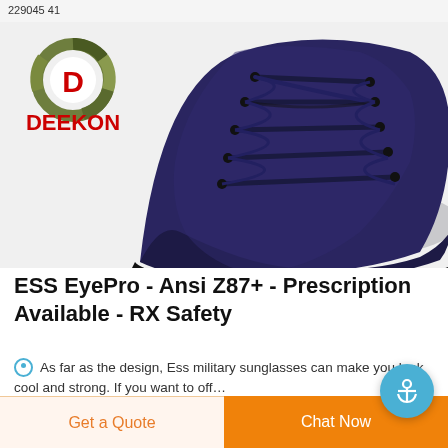229045 41
[Figure (logo): DEEKON brand logo — circular camouflage pattern with red D in center, red DEEKON text below]
[Figure (photo): Navy blue high-top canvas boot with dark laces, close-up product photo on white background]
ESS EyePro - Ansi Z87+ - Prescription Available - RX Safety
As far as the design, Ess military sunglasses can make you look cool and strong. If you want to off...
Get a Quote
Chat Now